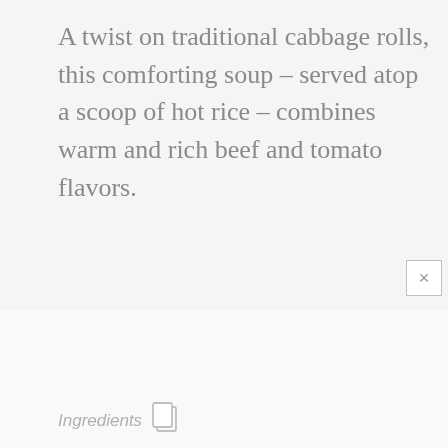A twist on traditional cabbage rolls, this comforting soup – served atop a scoop of hot rice – combines warm and rich beef and tomato flavors.
Ingredients